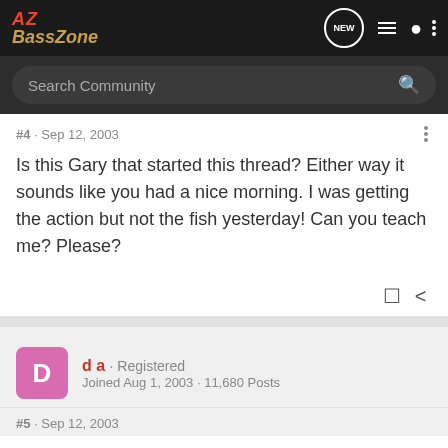AZ BassZone
#4 · Sep 12, 2003
Is this Gary that started this thread? Either way it sounds like you had a nice morning. I was getting the action but not the fish yesterday! Can you teach me? Please?
d a · Registered
Joined Aug 1, 2003 · 11,680 Posts
#5 · Sep 12, 2003